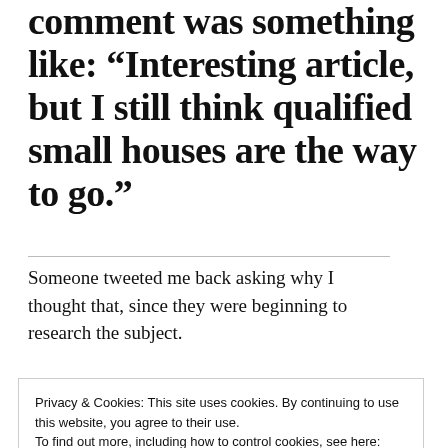comment was something like: “Interesting article, but I still think qualified small houses are the way to go.”
Someone tweeted me back asking why I thought that, since they were beginning to research the subject.
Privacy & Cookies: This site uses cookies. By continuing to use this website, you agree to their use. To find out more, including how to control cookies, see here: Cookie Policy